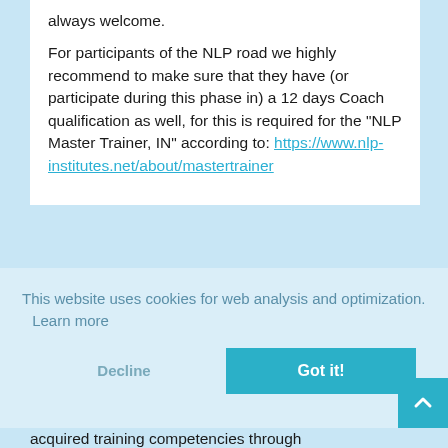always welcome.
For participants of the NLP road we highly recommend to make sure that they have (or participate during this phase in) a 12 days Coach qualification as well, for this is required for the "NLP Master Trainer, IN" according to: https://www.nlp-institutes.net/about/mastertrainer
This website uses cookies for web analysis and optimization.  Learn more
Decline
Got it!
acquired training competencies through